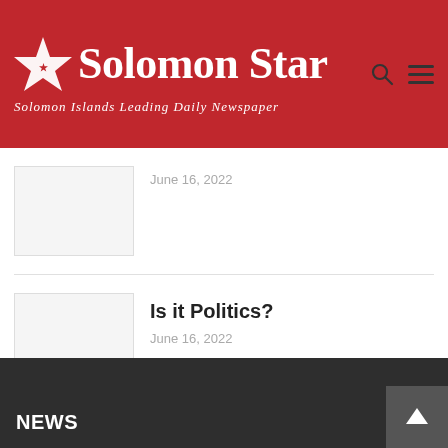[Figure (logo): Solomon Star newspaper logo on red background with star icon and subtitle 'Solomon Islands Leading Daily Newspaper']
[Figure (photo): Thumbnail image placeholder (white/grey box)]
June 16, 2022
[Figure (photo): Thumbnail image placeholder (white/grey box)]
Is it Politics?
June 16, 2022
NEWS